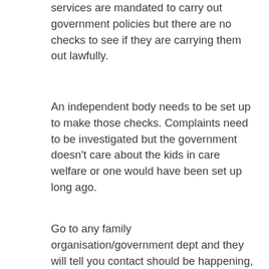services are mandated to carry out government policies but there are no checks to see if they are carrying them out lawfully.
An independent body needs to be set up to make those checks. Complaints need to be investigated but the government doesn't care about the kids in care welfare or one would have been set up long ago.
Go to any family organisation/government dept and they will tell you contact should be happening, all the reasons why it's beneficial for the child, how you should approach social services and you do all what you should do but it makes no difference because by the time all that has happened the child is already in survival